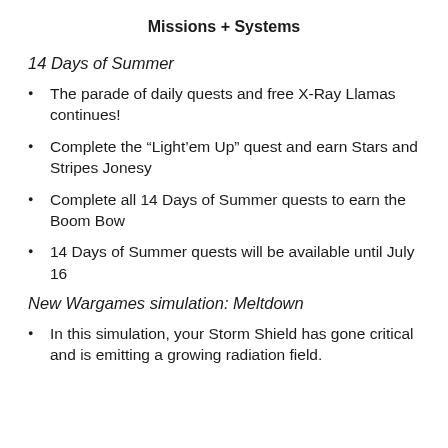Missions + Systems
14 Days of Summer
The parade of daily quests and free X-Ray Llamas continues!
Complete the “Light’em Up” quest and earn Stars and Stripes Jonesy
Complete all 14 Days of Summer quests to earn the Boom Bow
14 Days of Summer quests will be available until July 16
New Wargames simulation: Meltdown
In this simulation, your Storm Shield has gone critical and is emitting a growing radiation field.